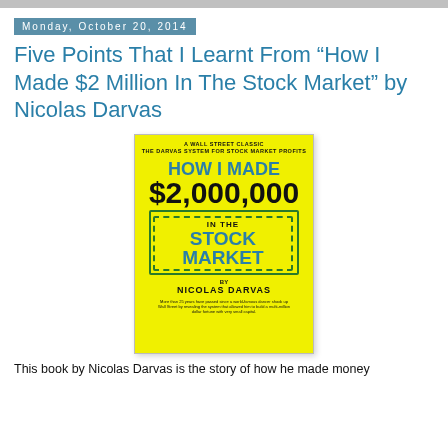Monday, October 20, 2014
Five Points That I Learnt From “How I Made $2 Million In The Stock Market” by Nicolas Darvas
[Figure (photo): Book cover of 'How I Made $2,000,000 In The Stock Market' by Nicolas Darvas. Yellow cover with blue and black text. Subtitle: A Wall Street Classic, The Darvas System for Stock Market Profits.]
This book by Nicolas Darvas is the story of how he made money